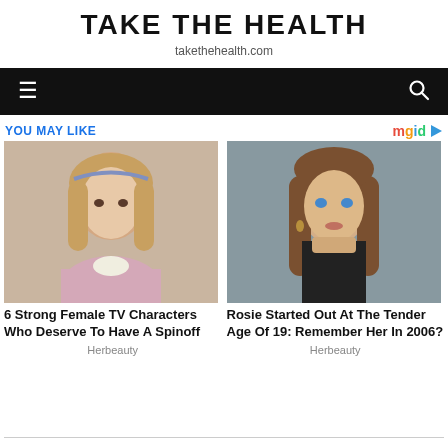TAKE THE HEALTH
takethehealth.com
Navigation bar with menu and search icons
YOU MAY LIKE
[Figure (photo): Young girl with blonde hair wearing a pink top — article thumbnail for '6 Strong Female TV Characters Who Deserve To Have A Spinoff']
6 Strong Female TV Characters Who Deserve To Have A Spinoff
Herbeauty
[Figure (photo): Young woman with long brown hair and blue eyes against a gray background — article thumbnail for 'Rosie Started Out At The Tender Age Of 19: Remember Her In 2006?']
Rosie Started Out At The Tender Age Of 19: Remember Her In 2006?
Herbeauty